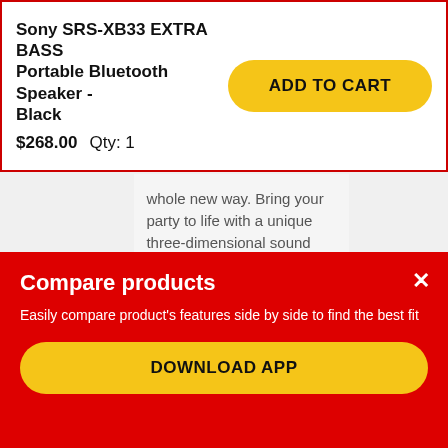Sony SRS-XB33 EXTRA BASS Portable Bluetooth Speaker - Black
$268.00   Qty: 1
ADD TO CART
whole new way. Bring your party to life with a unique three-dimensional sound experience – creating...
[Figure (other): Loading spinner]
Compare products
Easily compare product's features side by side to find the best fit
DOWNLOAD APP